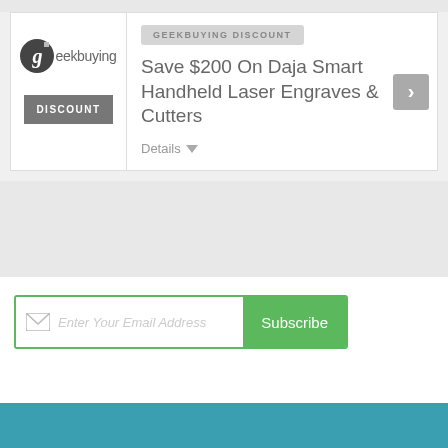[Figure (logo): Geekbuying logo with circular G icon and text]
DISCOUNT
GEEKBUYING DISCOUNT
Save $200 On Daja Smart Handheld Laser Engraves & Cutters
Details
Enter Your Email Address
Subscribe
ABOUT US